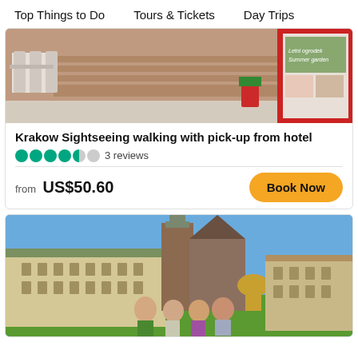Top Things to Do   Tours & Tickets   Day Trips
[Figure (photo): Street scene in Krakow with outdoor cafe furniture and a red-framed restaurant sign reading 'Letni ogrodek / Summer garden']
Krakow Sightseeing walking with pick-up from hotel
3 reviews
from US$50.60
Book Now
[Figure (photo): Group of tourists posing in front of Wawel Castle in Krakow on a sunny day with blue sky, with a guide wearing a green vest]